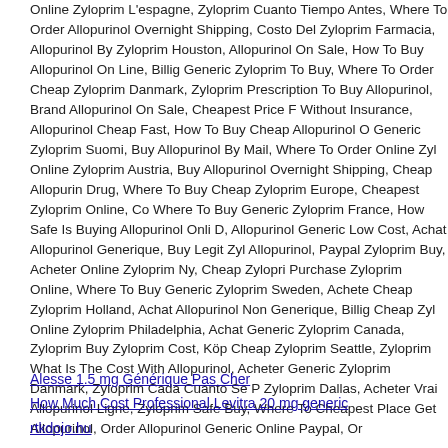Online Zyloprim L'espagne, Zyloprim Cuanto Tiempo Antes, Where To Order Allopurinol Overnight Shipping, Costo Del Zyloprim Farmacia, Allopurinol By Zyloprim Houston, Allopurinol On Sale, How To Buy Allopurinol On Line, Billig Generic Zyloprim To Buy, Where To Order Cheap Zyloprim Danmark, Prescription To Buy Allopurinol, Brand Allopurinol On Sale, Cheapest Price Without Insurance, Allopurinol Cheap Fast, How To Buy Cheap Allopurinol Generic Zyloprim Suomi, Buy Allopurinol By Mail, Where To Order Online Zyloprim Austria, Buy Allopurinol Overnight Shipping, Cheap Allopurinol Drug, Where To Buy Cheap Zyloprim Europe, Cheapest Zyloprim Online, Where To Buy Generic Zyloprim France, How Safe Is Buying Allopurinol Online D, Allopurinol Generic Low Cost, Achat Allopurinol Generique, Buy Legit Zyloprim Allopurinol, Paypal Zyloprim Buy, Acheter Online Zyloprim Ny, Cheap Zyloprim Purchase Zyloprim Online, Where To Buy Generic Zyloprim Sweden, Acheter Cheap Zyloprim Holland, Achat Allopurinol Non Generique, Billig Cheap Zyloprim Online Zyloprim Philadelphia, Achat Generic Zyloprim Canada, Zyloprim Buy Zyloprim Cost, Köp Cheap Zyloprim Seattle, Zyloprim What Is The Cost With Allopurinol, Acheter Generic Zyloprim Danmark, Zyloprim Cada Cuanto Se P Zyloprim Dallas, Acheter Vrai Allopurinol Ligne, Zyloprim Safe Buy, Where To Cheapest Place Get Allopurinol, Order Allopurinol Generic Online Paypal, Or
Alesse 1.5 mg Générique Pas Cher
How Much Cost Professional Levitra 20 mg generic
rtkdojo.hu